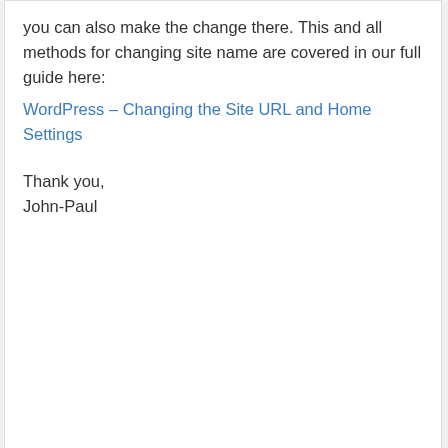you can also make the change there. This and all methods for changing site name are covered in our full guide here:
WordPress – Changing the Site URL and Home Settings
Thank you,
John-Paul
Reply
Bob Sorrells says:
May 5, 2017 at 9:01 pm
Thanks! I installed it per the instructions
Accept and Close
Your browser settings do not allow cross-site tracking for advertising. Click on this page to allow AdRoll to use cross-site tracking to tailor ads to you. Learn more or opt out of this AdRoll tracking by clicking here. This message only appears once.